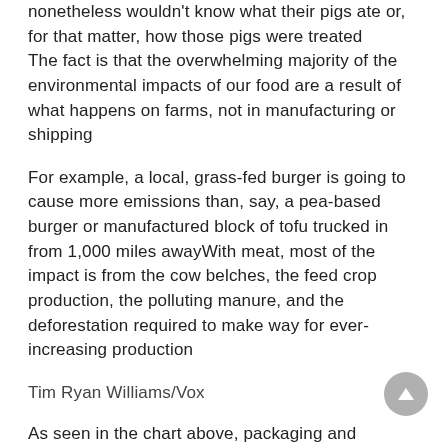nonetheless wouldn't know what their pigs ate or, for that matter, how those pigs were treated
The fact is that the overwhelming majority of the environmental impacts of our food are a result of what happens on farms, not in manufacturing or shipping
For example, a local, grass-fed burger is going to cause more emissions than, say, a pea-based burger or manufactured block of tofu trucked in from 1,000 miles awayWith meat, most of the impact is from the cow belches, the feed crop production, the polluting manure, and the deforestation required to make way for ever-increasing production
Tim Ryan Williams/Vox
As seen in the chart above, packaging and transport emissions across different kinds of meats and plant